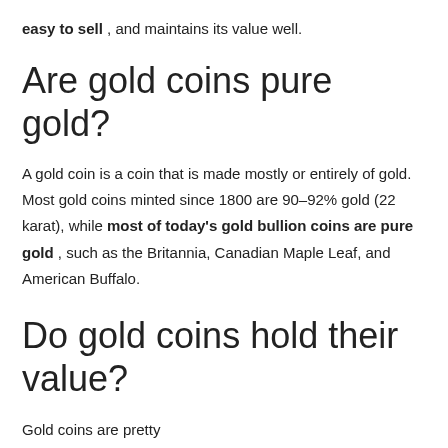easy to sell , and maintains its value well.
Are gold coins pure gold?
A gold coin is a coin that is made mostly or entirely of gold. Most gold coins minted since 1800 are 90–92% gold (22 karat), while most of today's gold bullion coins are pure gold , such as the Britannia, Canadian Maple Leaf, and American Buffalo.
Do gold coins hold their value?
Gold coins are pretty